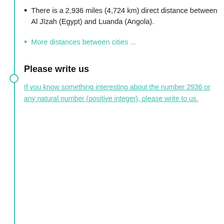There is a 2,936 miles (4,724 km) direct distance between Al Jīzah (Egypt) and Luanda (Angola).
More distances between cities ...
Please write us
If you know something interesting about the number 2936 or any natural number (positive integer), please write to us.